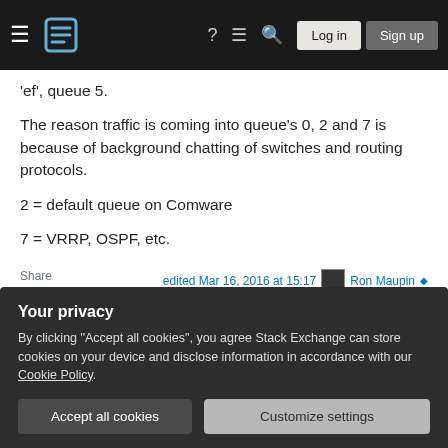Stack Exchange navigation bar with hamburger menu, logo, help, chat, search icons, Log in and Sign up buttons
'ef', queue 5.
The reason traffic is coming into queue's 0, 2 and 7 is because of background chatting of switches and routing protocols.
2 = default queue on Comware
7 = VRRP, OSPF, etc.
Share   edited Mar 16, 2016 at 15:17
Improve this answer   Ron Maupin ◆
Your privacy
By clicking "Accept all cookies", you agree Stack Exchange can store cookies on your device and disclose information in accordance with our Cookie Policy.
Accept all cookies   Customize settings